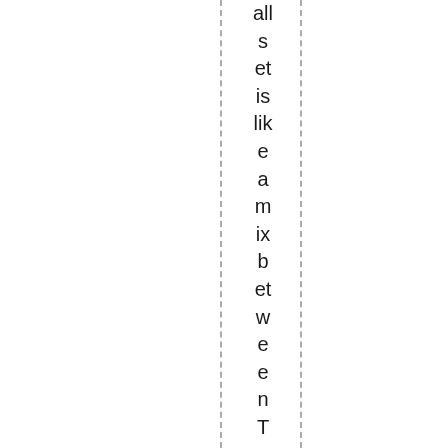all s et is lik e a m ix b et w e e n T o p p s L e a d er s a n d 1